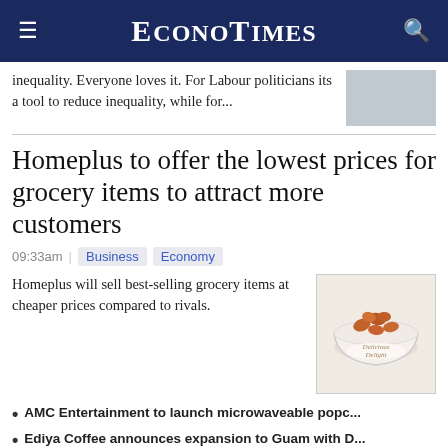EconoTimes
inequality. Everyone loves it. For Labour politicians its a tool to reduce inequality, while for...
Homeplus to offer the lowest prices for grocery items to attract more customers
09:33am | Business Economy
Homeplus will sell best-selling grocery items at cheaper prices compared to rivals.
AMC Entertainment to launch microwaveable popc...
Ediya Coffee announces expansion to Guam with D...
Taiwan unveils plans to make record boost in defense spending
07:09am | Politics